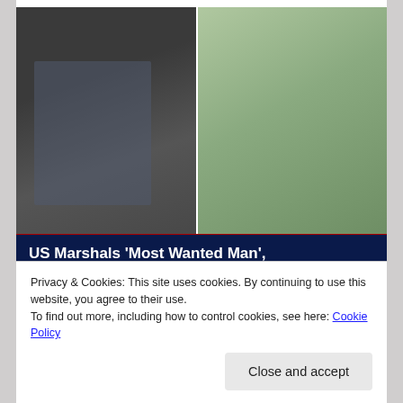[Figure (photo): Two photos side by side: left photo shows a bearded man in a black shirt holding something with a blurred/censored item; right photo shows a woman with long dark hair smiling indoors.]
US Marshals 'Most Wanted Man', ex-Marine Raymond 'RJ' McLeod,
Privacy & Cookies: This site uses cookies. By continuing to use this website, you agree to their use.
To find out more, including how to control cookies, see here: Cookie Policy